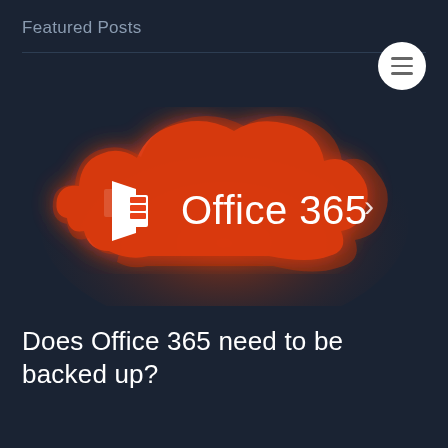Featured Posts
[Figure (logo): Microsoft Office 365 logo on an orange cloud shape with a white Office icon and 'Office 365' text, with a right-arrow chevron. The cloud has a dark glow effect on a dark navy background.]
Does Office 365 need to be backed up?